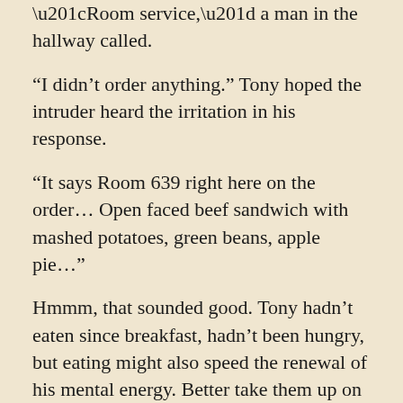“Room service,” a man in the hallway called.
“I didn’t order anything.” Tony hoped the intruder heard the irritation in his response.
“It says Room 639 right here on the order… Open faced beef sandwich with mashed potatoes, green beans, apple pie…”
Hmmm, that sounded good. Tony hadn’t eaten since breakfast, hadn’t been hungry, but eating might also speed the renewal of his mental energy. Better take them up on it, even if he didn’t order the dinner. He yanked the door open.
The black man in the hallway wore a white server’s uniform, but his hands were empty. Tony glanced down the hall in both directions. Where was the cart? “Where’s the food?”
“My apologies, Mr. Solomon, but I need to talk to you